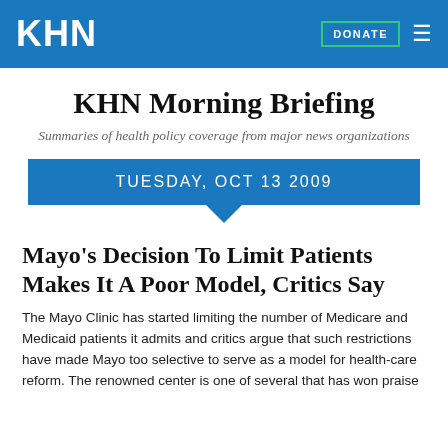KHN
KHN Morning Briefing
Summaries of health policy coverage from major news organizations
TUESDAY, OCT 13 2009
Mayo's Decision To Limit Patients Makes It A Poor Model, Critics Say
The Mayo Clinic has started limiting the number of Medicare and Medicaid patients it admits and critics argue that such restrictions have made Mayo too selective to serve as a model for health-care reform. The renowned center is one of several that has won praise